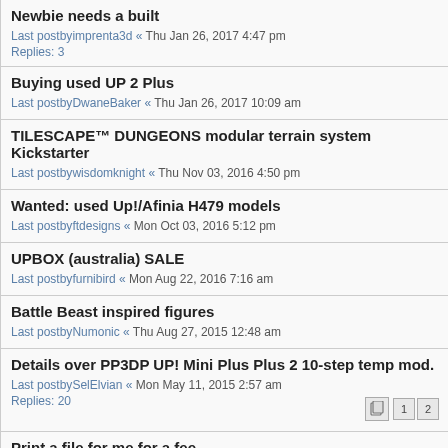Newbie needs a built
Last postby imprenta3d « Thu Jan 26, 2017 4:47 pm
Replies: 3
Buying used UP 2 Plus
Last postby DwaneBaker « Thu Jan 26, 2017 10:09 am
TILESCAPE™ DUNGEONS modular terrain system Kickstarter
Last postby wisdomknight « Thu Nov 03, 2016 4:50 pm
Wanted: used Up!/Afinia H479 models
Last postby ftdesigns « Mon Oct 03, 2016 5:12 pm
UPBOX (australia) SALE
Last postby furnibird « Mon Aug 22, 2016 7:16 am
Battle Beast inspired figures
Last postby Numonic « Thu Aug 27, 2015 12:48 am
Details over PP3DP UP! Mini Plus Plus 2 10-step temp mod.
Last postby SelElvian « Mon May 11, 2015 2:57 am
Replies: 20
Print a file for me for a fee
Last postby Numonic « Mon Feb 16, 2015 10:54 pm
Replies: 4